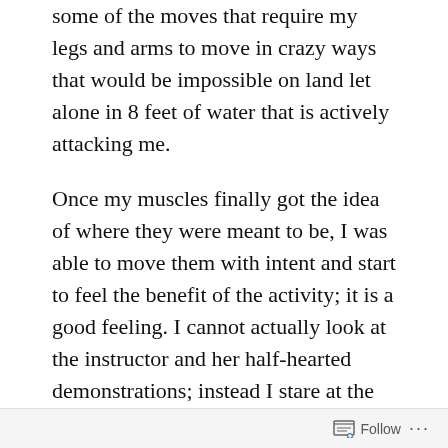some of the moves that require my legs and arms to move in crazy ways that would be impossible on land let alone in 8 feet of water that is actively attacking me.
Once my muscles finally got the idea of where they were meant to be, I was able to move them with intent and start to feel the benefit of the activity; it is a good feeling. I cannot actually look at the instructor and her half-hearted demonstrations; instead I stare at the water and picture the moves in my minds eye, which probably means my eyes roll up in my head and I look like I am about to shoot laser beams out of their freaky whiteness.
Follow ...